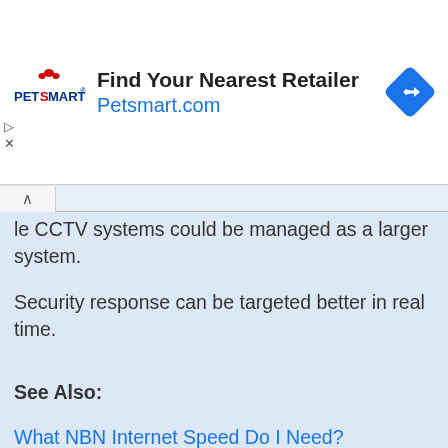[Figure (screenshot): PetSmart advertisement banner: 'Find Your Nearest Retailer Petsmart.com' with PetSmart logo on left and blue diamond navigation icon on right]
le CCTV systems could be managed as a larger system.
Security response can be targeted better in real time.
See Also:
What NBN Internet Speed Do I Need?
Remote Backup
CCTV and Analytics for Public Safety   How video analytics can be used in public places